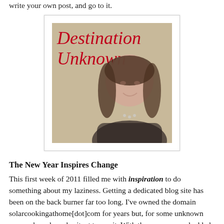write your own post, and go to it.
[Figure (illustration): Blog logo image with decorative tan/gold border frame, cursive red text reading 'Destination Unknown' overlaid on a photo of a woman's face]
The New Year Inspires Change
This first week of 2011 filled me with inspiration to do something about my laziness. Getting a dedicated blog site has been on the back burner far too long. I've owned the domain solarcookingathome[dot]com for years but, for some unknown reason, have been hesitant to use it. With the new year and added focus on making the change, it occurred to me that 'solar cooking at home' didn't reflect my mission when read cold — like in a Google search. The subtitle said it